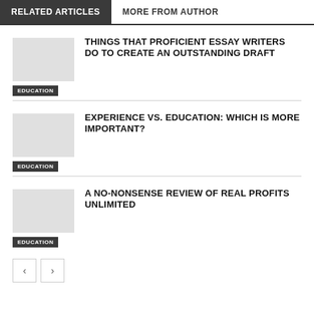RELATED ARTICLES
MORE FROM AUTHOR
THINGS THAT PROFICIENT ESSAY WRITERS DO TO CREATE AN OUTSTANDING DRAFT
EDUCATION
EXPERIENCE VS. EDUCATION: WHICH IS MORE IMPORTANT?
EDUCATION
A NO-NONSENSE REVIEW OF REAL PROFITS UNLIMITED
EDUCATION